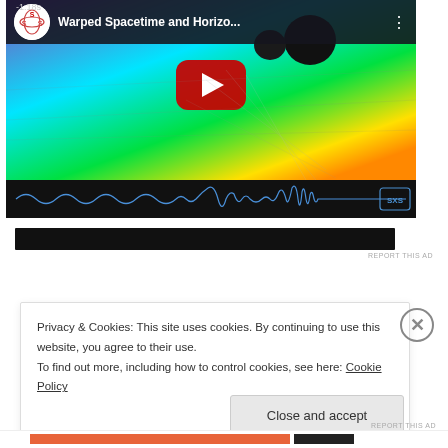[Figure (screenshot): YouTube video embed showing 'Warped Spacetime and Horizo...' with a black hole simulation thumbnail featuring colorful spacetime warping visualization (blues, greens, yellows, reds), two black holes, and a gravitational wave waveform at the bottom. Red play button in center.]
[Figure (screenshot): Black advertisement bar]
REPORT THIS AD
Privacy & Cookies: This site uses cookies. By continuing to use this website, you agree to their use.
To find out more, including how to control cookies, see here: Cookie Policy
Close and accept